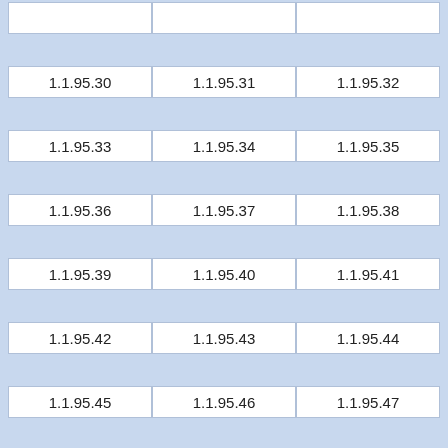|  |  |  |
| 1.1.95.30 | 1.1.95.31 | 1.1.95.32 |
| 1.1.95.33 | 1.1.95.34 | 1.1.95.35 |
| 1.1.95.36 | 1.1.95.37 | 1.1.95.38 |
| 1.1.95.39 | 1.1.95.40 | 1.1.95.41 |
| 1.1.95.42 | 1.1.95.43 | 1.1.95.44 |
| 1.1.95.45 | 1.1.95.46 | 1.1.95.47 |
| 1.1.95.48 | 1.1.95.49 | 1.1.95.50 |
| 1.1.95.51 | 1.1.95.52 | 1.1.95.53 |
| 1.1.95.54 | 1.1.95.55 | 1.1.95.56 |
| 1.1.95.57 | 1.1.95.58 | 1.1.95.59 |
| 1.1.95.60 | 1.1.95.61 | 1.1.95.62 |
| 1.1.95.63 | 1.1.95.64 | 1.1.95.65 |
| 1.1.95.66 | 1.1.95.67 | 1.1.95.68 |